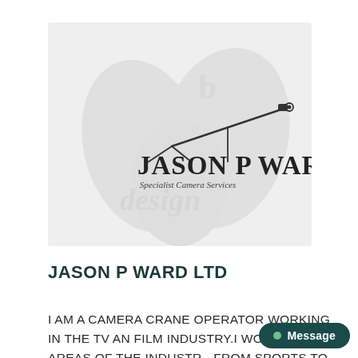[Figure (logo): Jason P Ward Specialist Camera Services logo with camera crane silhouette and decorative leaf/tulip watermark in grey background]
JASON P WARD LTD
I AM A CAMERA CRANE OPERATOR WORKING IN THE TV AN FILM INDUSTRY.I WORK IN ALL AREAS OF THE INDUSTRY FROM SPORTS TO DRAMAS, GAME SHOWS